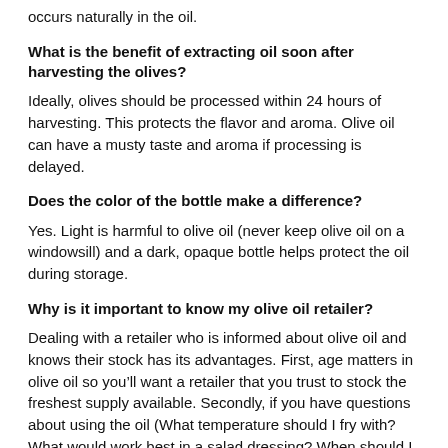occurs naturally in the oil.
What is the benefit of extracting oil soon after harvesting the olives?
Ideally, olives should be processed within 24 hours of harvesting. This protects the flavor and aroma. Olive oil can have a musty taste and aroma if processing is delayed.
Does the color of the bottle make a difference?
Yes. Light is harmful to olive oil (never keep olive oil on a windowsill) and a dark, opaque bottle helps protect the oil during storage.
Why is it important to know my olive oil retailer?
Dealing with a retailer who is informed about olive oil and knows their stock has its advantages. First, age matters in olive oil so you’ll want a retailer that you trust to stock the freshest supply available. Secondly, if you have questions about using the oil (What temperature should I fry with? What would work best in a salad dressing? When should I use a flavored oil?) a knowledgeable dealer may be more helpful than a non-specializing merchant.